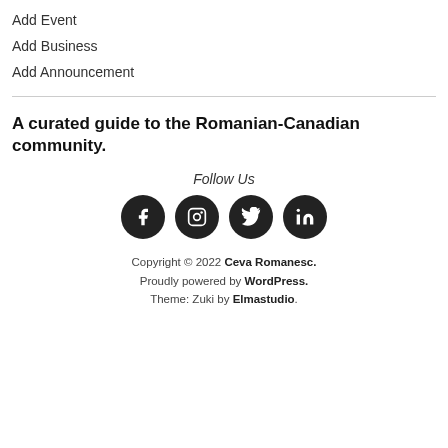Add Event
Add Business
Add Announcement
A curated guide to the Romanian-Canadian community.
Follow Us
[Figure (other): Four social media icon buttons: Facebook, Instagram, Twitter, LinkedIn]
Copyright © 2022 Ceva Romanesc. Proudly powered by WordPress. Theme: Zuki by Elmastudio.